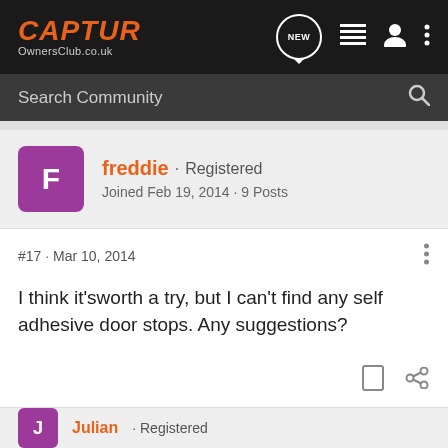CAPTUR OwnersClub.co.uk
Search Community
freddie · Registered
Joined Feb 19, 2014 · 9 Posts
#17 · Mar 10, 2014
I think it'sworth a try, but I can't find any self adhesive door stops. Any suggestions?
Julian · Registered